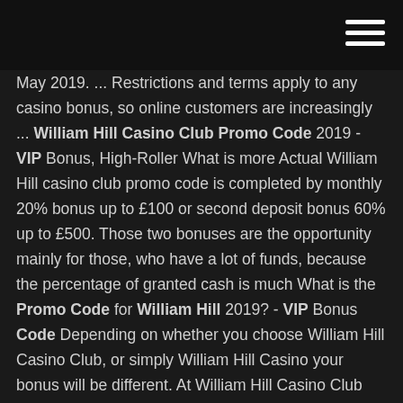hamburger menu
May 2019. ... Restrictions and terms apply to any casino bonus, so online customers are increasingly ... William Hill Casino Club Promo Code 2019 - VIP Bonus, High-Roller What is more Actual William Hill casino club promo code is completed by monthly 20% bonus up to £100 or second deposit bonus 60% up to £500. Those two bonuses are the opportunity mainly for those, who have a lot of funds, because the percentage of granted cash is much What is the Promo Code for William Hill 2019? - VIP Bonus Code Depending on whether you choose William Hill Casino Club, or simply William Hill Casino your bonus will be different. At William Hill Casino Club bonus reaches 150% up to €300 for users register with JohnnyBet. At William Hill Casino bonus is - 100% up to £/€300 William Hill Casino Club Download &